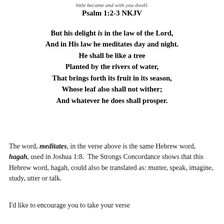little became and with you dwell.
Psalm 1:2-3 NKJV
But his delight is in the law of the Lord,
And in His law he meditates day and night.
He shall be like a tree
Planted by the rivers of water,
That brings forth its fruit in its season,
Whose leaf also shall not wither;
And whatever he does shall prosper.
The word, meditates, in the verse above is the same Hebrew word, hagah, used in Joshua 1:8. The Strongs Concordance shows that this Hebrew word, hagah, could also be translated as: mutter, speak, imagine, study, utter or talk.
I'd like to encourage you to take your verse